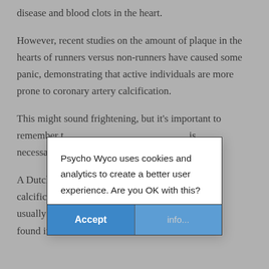disease and blood clots in the heart.
However, recent studies on the amount of plaque in the hearts of runners versus non-runners have caused some panic, demonstrating that active individuals are more prone to coronary artery calcification.
This might sound frightening, but it's important to remember that not all types of this plaque is necessarily...
A Dutch study... calcification... e is usually less... fatty plaque found in the...
[Figure (screenshot): Cookie consent dialog overlay: 'Psycho Wyco uses cookies and analytics to create a better user experience. Are you OK with this?' with Accept and info... buttons]